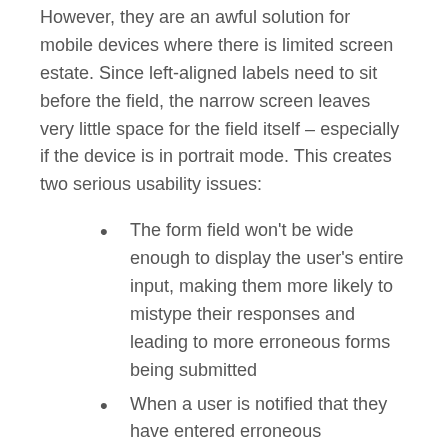However, they are an awful solution for mobile devices where there is limited screen estate. Since left-aligned labels need to sit before the field, the narrow screen leaves very little space for the field itself – especially if the device is in portrait mode. This creates two serious usability issues:
The form field won't be wide enough to display the user's entire input, making them more likely to mistype their responses and leading to more erroneous forms being submitted
When a user is notified that they have entered erroneous information, they may have a hard time spotting and fixing the